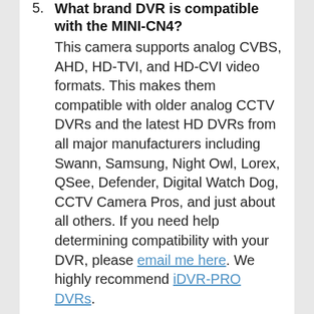5. What brand DVR is compatible with the MINI-CN4? This camera supports analog CVBS, AHD, HD-TVI, and HD-CVI video formats. This makes them compatible with older analog CCTV DVRs and the latest HD DVRs from all major manufacturers including Swann, Samsung, Night Owl, Lorex, QSee, Defender, Digital Watch Dog, CCTV Camera Pros, and just about all others. If you need help determining compatibility with your DVR, please email me here. We highly recommend iDVR-PRO DVRs.
6. Are other spy / hidden cameras available? Yes. CCTV Camera Pros has many pre-made hidden spy cameras available here.
7. Do pinhole camera support infrared night vision?